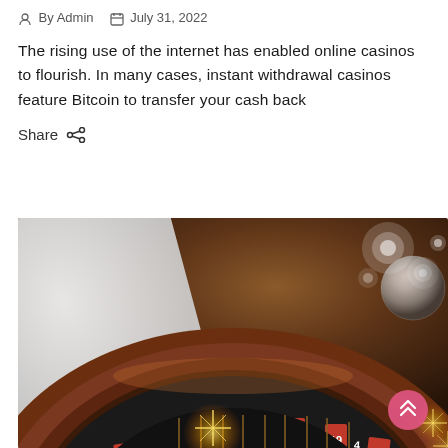By Admin   July 31, 2022
The rising use of the internet has enabled online casinos to flourish. In many cases, instant withdrawal casinos feature Bitcoin to transfer your cash back
Share
[Figure (photo): Roulette wheel close-up showing numbered red, black and green slots with numbers including 3, 26, 0, 32, 15, 19, 4, 21, 2, 28, 12, 35, 7, 29 and others, with glowing light effects and playing cards in the background against a dark golden-brown casino atmosphere. A pink circular scroll-to-top button is visible in the lower right.]